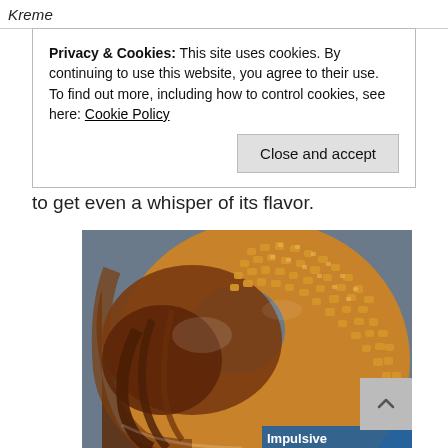Kreme
Privacy & Cookies: This site uses cookies. By continuing to use this website, you agree to their use.
To find out more, including how to control cookies, see here: Cookie Policy
Close and accept
to get even a whisper of its flavor.
[Figure (photo): Close-up photo of a chocolate-glazed donut topped with chopped nuts, with rich melted chocolate dripping down the sides. Watermark text 'Impulsive' visible at bottom right.]